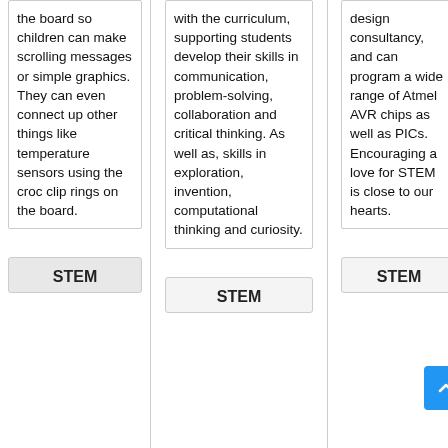the board so children can make scrolling messages or simple graphics. They can even connect up other things like temperature sensors using the croc clip rings on the board.
STEM
with the curriculum, supporting students develop their skills in communication, problem-solving, collaboration and critical thinking. As well as, skills in exploration, invention, computational thinking and curiosity.
STEM
design consultancy, and can program a wide range of Atmel AVR chips as well as PICs. Encouraging a love for STEM is close to our hearts.
STEM